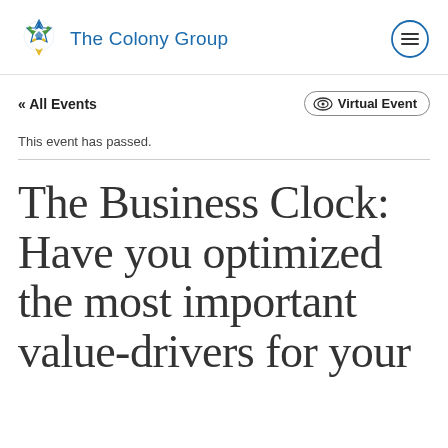The Colony Group
« All Events
(•)) Virtual Event
This event has passed.
The Business Clock: Have you optimized the most important value-drivers for your